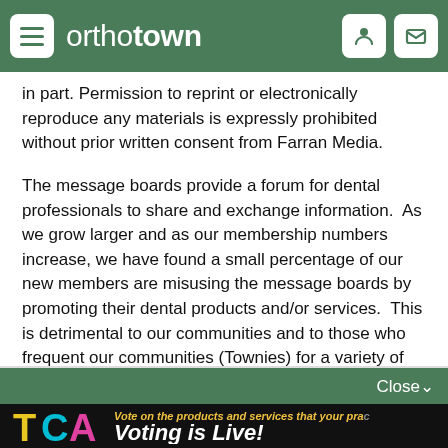orthotown
in part. Permission to reprint or electronically reproduce any materials is expressly prohibited without prior written consent from Farran Media.
The message boards provide a forum for dental professionals to share and exchange information.  As we grow larger and as our membership numbers increase, we have found a small percentage of our new members are misusing the message boards by promoting their dental products and/or services.  This is detrimental to our communities and to those who frequent our communities (Townies) for a variety of reasons.   First, many legitimate threads are “hijacked” into sales pitches and the original interesting discussion is often lost.  Second, if a thread is
Close∨
[Figure (infographic): TCA logo advertisement banner with text 'Voting is Live!' on a black background. The TCA logo shows yellow T, cyan C, and magenta A letters. Ad text reads 'Vote on the products and services that your pra...' and 'Voting is Live!']